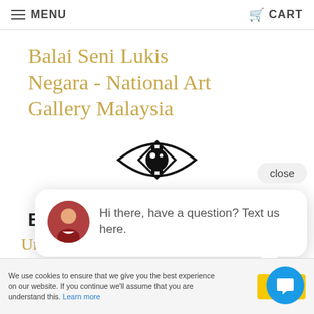MENU   CART
Balai Seni Lukis Negara - National Art Gallery Malaysia
[Figure (logo): Stylized eye with geometric inner diamond/lens shape — black outline logo of Balai Seni Lukis Negara]
Arabic/Malay script text (partially obscured)
Bo (partially visible bold text, obscured by chat popup)
Hi there, have a question? Text us here.
Unitrans Outdoo (partially visible, cut off at bottom)
We use cookies to ensure that we give you the best experience on our website. If you continue we'll assume that you are understand this. Learn more